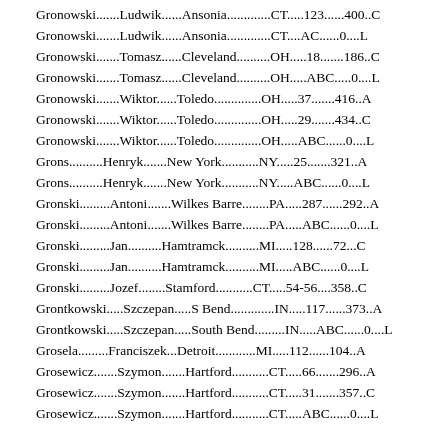Gronowski.......Ludwik......Ansonia..............CT.....123......400..C
Gronowski.......Ludwik......Ansonia..............CT....AC......0....L
Gronowski.......Tomasz......Cleveland...........OH.....18.......186..C
Gronowski.......Tomasz......Cleveland...........OH.....ABC.....0....L
Gronowski.......Wiktor......Toledo..............OH.....37.......416..A
Gronowski.......Wiktor......Toledo..............OH.....29.......434..C
Gronowski.......Wiktor......Toledo..............OH.....ABC......0....L
Grons..........Henryk.......New York...........NY.....25.......321..A
Grons..........Henryk.......New York...........NY.....ABC......0....L
Gronski.........Antoni.......Wilkes Barre.........PA.....287......292..A
Gronski.........Antoni.......Wilkes Barre.........PA.....ABC......0....L
Gronski.........Jan..........Hamtramck..........MI.....128......72...C
Gronski.........Jan..........Hamtramck..........MI.....ABC......0....L
Gronski.........Jozef........Stamford...........CT.....54-56....358..C
Grontkowski.....Szczepan.....S Bend.............IN.....117......373..A
Grontkowski.....Szczepan.....South Bend.........IN.....ABC......0....L
Grosela.........Franciszek...Detroit............MI.....112......104..A
Grosewicz.......Szymon.......Hartford...........CT.....66.......296..A
Grosewicz.......Szymon.......Hartford...........CT.....31.......357..C
Grosewicz.......Szymon.......Hartford...........CT.....ABC......0....L